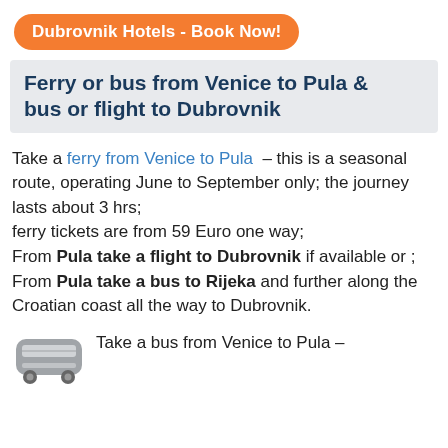Dubrovnik Hotels - Book Now!
Ferry or bus from Venice to Pula & bus or flight to Dubrovnik
Take a ferry from Venice to Pula – this is a seasonal route, operating June to September only; the journey lasts about 3 hrs; ferry tickets are from 59 Euro one way; From Pula take a flight to Dubrovnik if available or ; From Pula take a bus to Rijeka and further along the Croatian coast all the way to Dubrovnik.
Take a bus from Venice to Pula –